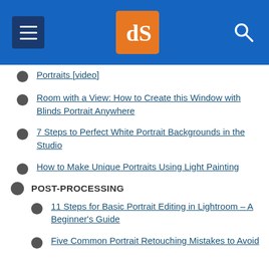dPS navigation header
Portraits [video]
Room with a View: How to Create this Window with Blinds Portrait Anywhere
7 Steps to Perfect White Portrait Backgrounds in the Studio
How to Make Unique Portraits Using Light Painting
POST-PROCESSING
11 Steps for Basic Portrait Editing in Lightroom – A Beginner's Guide
Five Common Portrait Retouching Mistakes to Avoid